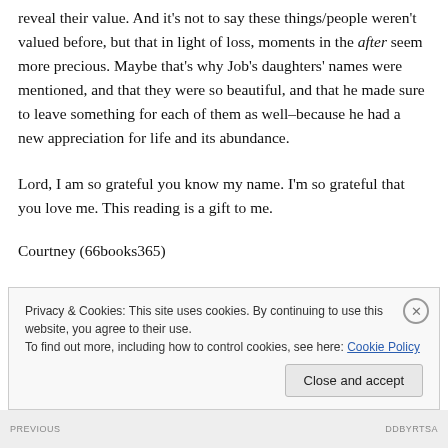reveal their value. And it's not to say these things/people weren't valued before, but that in light of loss, moments in the after seem more precious. Maybe that's why Job's daughters' names were mentioned, and that they were so beautiful, and that he made sure to leave something for each of them as well–because he had a new appreciation for life and its abundance.
Lord, I am so grateful you know my name. I'm so grateful that you love me. This reading is a gift to me.
Courtney (66books365)
Privacy & Cookies: This site uses cookies. By continuing to use this website, you agree to their use. To find out more, including how to control cookies, see here: Cookie Policy